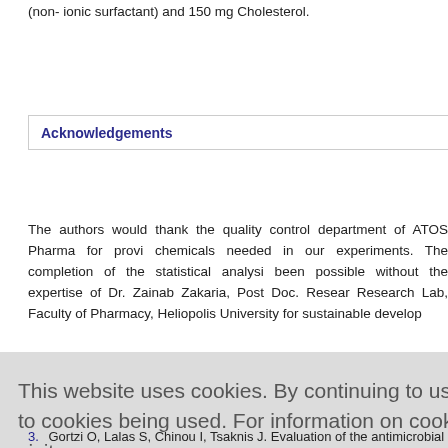(non- ionic surfactant) and 150 mg Cholesterol.
Acknowledgements
The authors would thank the quality control department of ATOS Pharma for providing chemicals needed in our experiments. The completion of the statistical analysis would not have been possible without the expertise of Dr. Zainab Zakaria, Post Doc. Research Lab, Faculty of Pharmacy, Heliopolis University for sustainable development.
This website uses cookies. By continuing to use this website you are giving consent to cookies being used. For information on cookies and how you can disable them visit our Privacy and Cookie Policy. AGREE & PROCEED
3. Gortzi O, Lalas S, Chinou I, Tsaknis J. Evaluation of the antimicrobial